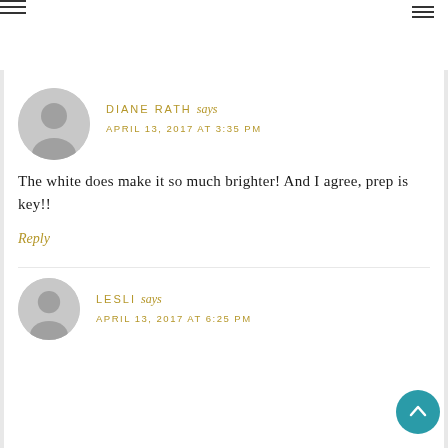hamburger menu icons
DIANE RATH says
APRIL 13, 2017 AT 3:35 PM
The white does make it so much brighter! And I agree, prep is key!!
Reply
LESLI says
APRIL 13, 2017 AT 6:25 PM